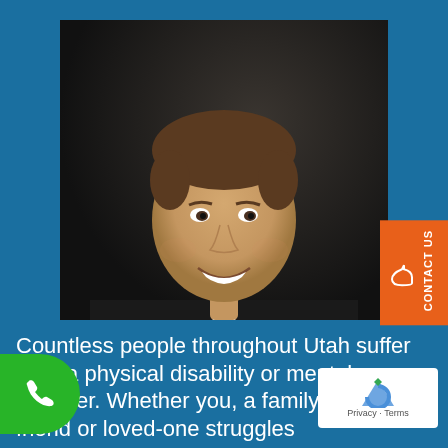[Figure (photo): Professional headshot of a smiling man in a dark suit, white dress shirt, and red tie, photographed against a dark background]
Countless people throughout Utah suffer from a physical disability or mental disorder. Whether you, a family member, friend or loved-one struggles